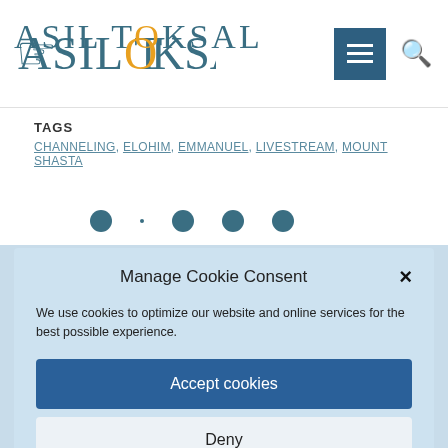[Figure (logo): Asil Toksal logo with stylized text in teal/blue, with 'O' in orange]
TAGS
CHANNELING, ELOHIM, EMMANUEL, LIVESTREAM, MOUNT SHASTA
Manage Cookie Consent
We use cookies to optimize our website and online services for the best possible experience.
Accept cookies
Deny
View preferences
Cookie Policy   Privacy Policy   Contact / Imprint